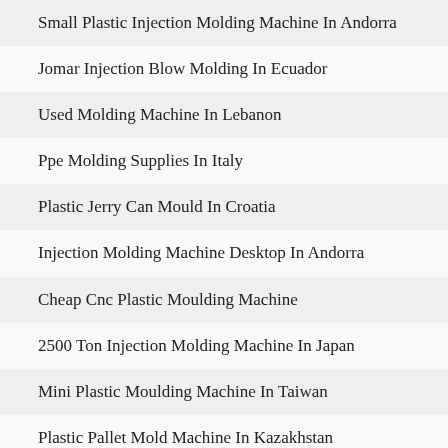Small Plastic Injection Molding Machine In Andorra
Jomar Injection Blow Molding In Ecuador
Used Molding Machine In Lebanon
Ppe Molding Supplies In Italy
Plastic Jerry Can Mould In Croatia
Injection Molding Machine Desktop In Andorra
Cheap Cnc Plastic Moulding Machine
2500 Ton Injection Molding Machine In Japan
Mini Plastic Moulding Machine In Taiwan
Plastic Pallet Mold Machine In Kazakhstan